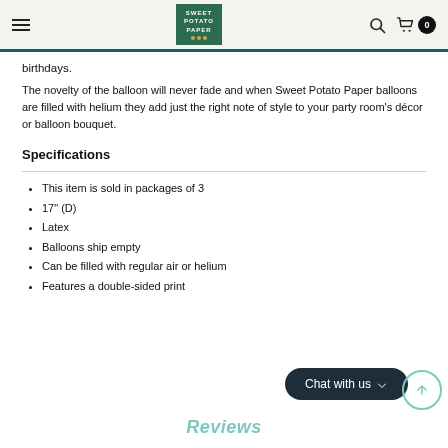Sweet Potato Paper
birthdays.
The novelty of the balloon will never fade and when Sweet Potato Paper balloons are filled with helium they add just the right note of style to your party room's décor or balloon bouquet.
Specifications
This item is sold in packages of 3
17" (D)
Latex
Balloons ship empty
Can be filled with regular air or helium
Features a double-sided print
Reviews